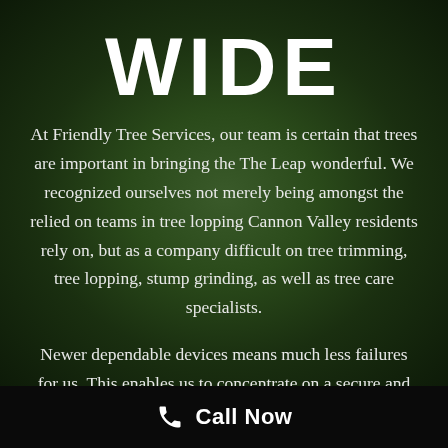WIDE
At Friendly Tree Services, our team is certain that trees are important in bringing the The Leap wonderful. We recognized ourselves not merely being amongst the relied on teams in tree lopping Cannon Valley residents rely on, but as a company difficult on tree trimming, tree lopping, stump grinding, as well as tree care specialists.
Newer dependable devices means much less failures for us. This enables us to concentrate on a secure and efficient tree removal solution provided for you. A great
Call Now